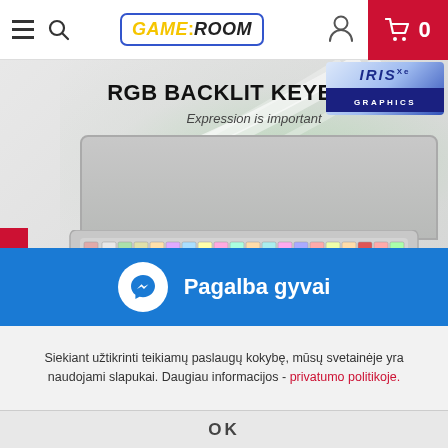GAME:ROOM — Navigation bar with hamburger menu, search, logo, user icon, cart (0)
[Figure (screenshot): RGB backlit keyboard product image with text 'RGB BACKLIT KEYBOARD — Expression is important' on a light gradient background with green swirl design, showing a laptop with colorful RGB keyboard]
Pagalba gyvai
Siekiant užtikrinti teikiamų paslaugų kokybę, mūsų svetainėje yra naudojami slapukai. Daugiau informacijos - privatumo politikoje.
OK